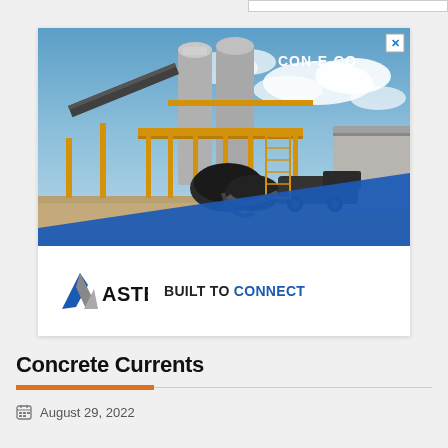[Figure (photo): Advertisement for CON-E-CO by ASTEC showing an industrial concrete batching plant / mixing tower with yellow steel framework against a blue sky. Bottom section shows ASTEC logo with tagline 'BUILT TO CONNECT'. Close button (X) in top-right corner of image.]
Concrete Currents
August 29, 2022